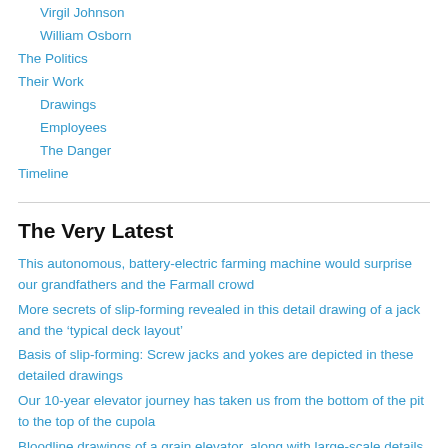Virgil Johnson
William Osborn
The Politics
Their Work
Drawings
Employees
The Danger
Timeline
The Very Latest
This autonomous, battery-electric farming machine would surprise our grandfathers and the Farmall crowd
More secrets of slip-forming revealed in this detail drawing of a jack and the ‘typical deck layout’
Basis of slip-forming: Screw jacks and yokes are depicted in these detailed drawings
Our 10-year elevator journey has taken us from the bottom of the pit to the top of the cupola
Bloodline drawings of a grain elevator, along with large-scale details of...